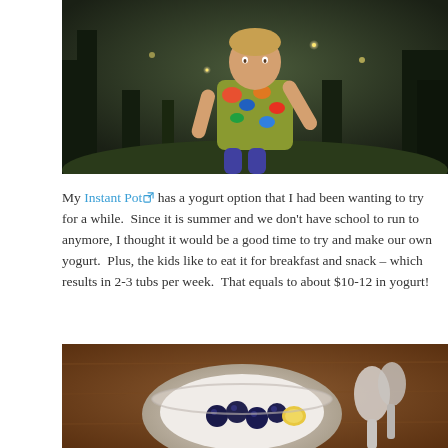[Figure (photo): A young boy in a colorful floral shirt outdoors at dusk, with arm outstretched as if catching fireflies, set against a dark wooded background with small bokeh lights]
My Instant Pot has a yogurt option that I had been wanting to try for a while.  Since it is summer and we don't have school to run to anymore, I thought it would be a good time to try and make our own yogurt.  Plus, the kids like to eat it for breakfast and snack – which results in 2-3 tubs per week.  That equals to about $10-12 in yogurt!
[Figure (photo): A glass bowl containing yogurt topped with fresh blueberries and what appears to be a slice of banana, with spoons visible in the background on a wooden surface]